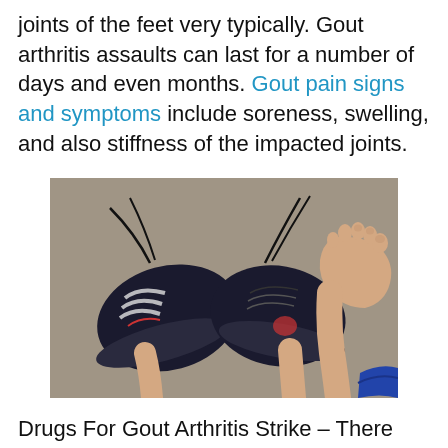joints of the feet very typically. Gout arthritis assaults can last for a number of days and even months. Gout pain signs and symptoms include soreness, swelling, and also stiffness of the impacted joints.
[Figure (photo): Overhead view of a person's feet, one wearing a black athletic sneaker with laces undone, one bare foot next to it, on a grey floor surface. A blue sleeve is visible at the bottom right.]
Drugs For Gout Arthritis Strike – There are lots of types of medications that can be